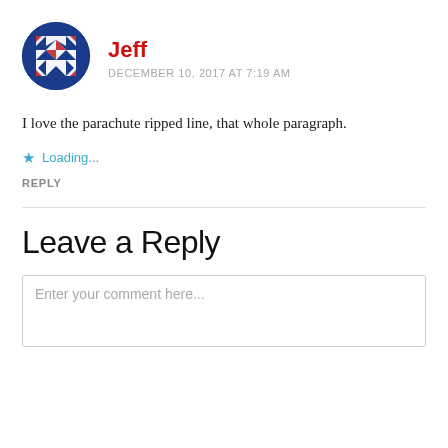[Figure (illustration): Circular avatar with a blue and red quilt-pattern design]
Jeff
DECEMBER 10, 2017 AT 7:19 AM
I love the parachute ripped line, that whole paragraph.
★ Loading...
REPLY
Leave a Reply
Enter your comment here...